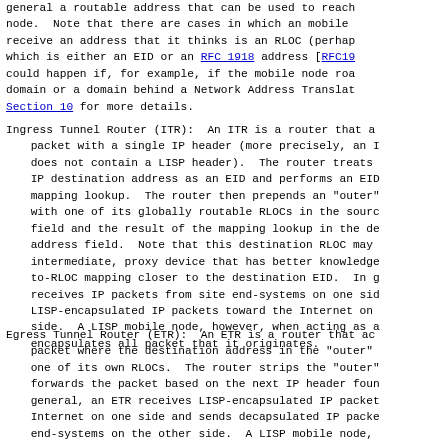general a routable address that can be used to reach node.  Note that there are cases in which an mobile receive an address that it thinks is an RLOC (perhap which is either an EID or an RFC 1918 address [RFC19 could happen if, for example, if the mobile node roa domain or a domain behind a Network Address Translat Section 10 for more details.
Ingress Tunnel Router (ITR):  An ITR is a router that a packet with a single IP header (more precisely, an I does not contain a LISP header).  The router treats IP destination address as an EID and performs an EID mapping lookup.  The router then prepends an "outer" with one of its globally routable RLOCs in the sourc field and the result of the mapping lookup in the de address field.  Note that this destination RLOC may intermediate, proxy device that has better knowledge to-RLOC mapping closer to the destination EID.  In g receives IP packets from site end-systems on one sid LISP-encapsulated IP packets toward the Internet on side.  A LISP mobile node, however, when acting as a encapsulates all packet that it originates.
Egress Tunnel Router (ETR):  An ETR is a router that ac packet where the destination address in the "outer" one of its own RLOCs.  The router strips the "outer" forwards the packet based on the next IP header foun general, an ETR receives LISP-encapsulated IP packet Internet on one side and sends decapsulated IP packe end-systems on the other side.  A LISP mobile node,